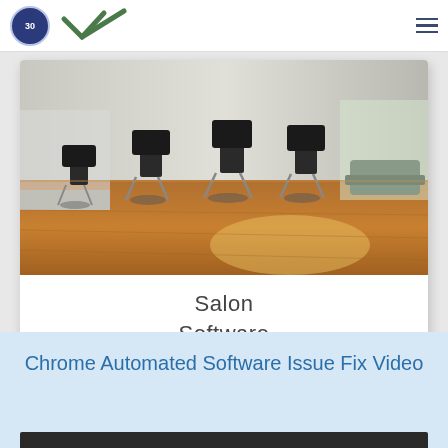30 [logo with checkmark]
[Figure (photo): Interior of a hair salon showing styling chairs, mirrors, and hardwood floors with warm lighting]
Salon
Software
Chrome Automated Software Issue Fix Video